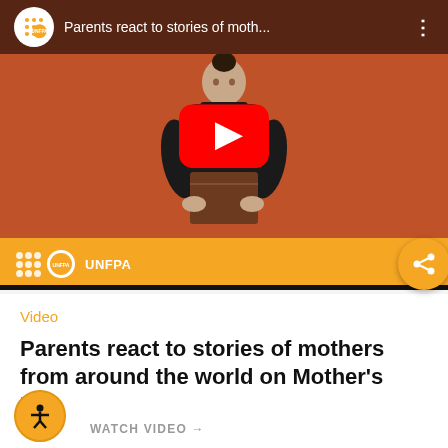[Figure (screenshot): YouTube video thumbnail showing a woman in a black turtleneck holding a brown envelope/folder against an orange-brown background. The video player interface shows the UNFPA channel icon, video title 'Parents react to stories of moth...', a vertical dots menu, a red YouTube play button in the center, and an orange UNFPA branded bottom bar. An orange share button circle appears on the right side.]
Video
Parents react to stories of mothers from around the world on Mother's Day
WATCH VIDEO →